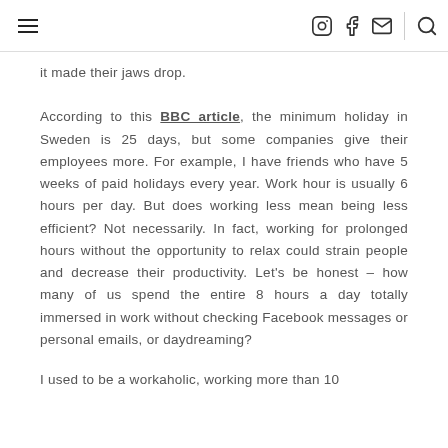Navigation header with hamburger menu and social icons
it made their jaws drop.
According to this BBC article, the minimum holiday in Sweden is 25 days, but some companies give their employees more. For example, I have friends who have 5 weeks of paid holidays every year. Work hour is usually 6 hours per day. But does working less mean being less efficient? Not necessarily. In fact, working for prolonged hours without the opportunity to relax could strain people and decrease their productivity. Let's be honest – how many of us spend the entire 8 hours a day totally immersed in work without checking Facebook messages or personal emails, or daydreaming?
I used to be a workaholic, working more than 10